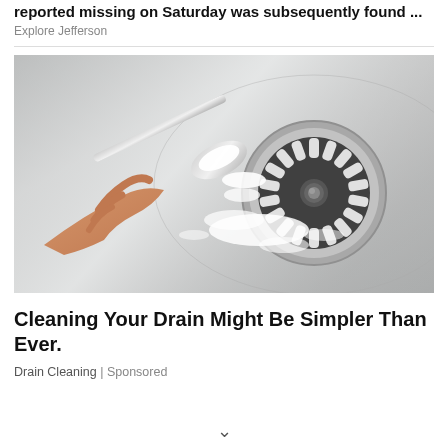reported missing on Saturday was subsequently found ...
Explore Jefferson
[Figure (photo): A hand holding a spoon with white powder being poured over a stainless steel sink drain]
Cleaning Your Drain Might Be Simpler Than Ever.
Drain Cleaning | Sponsored